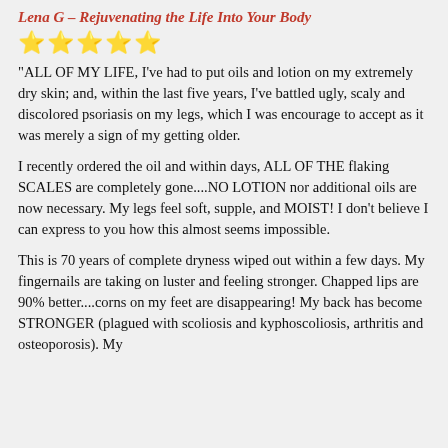Lena G – Rejuvenating the Life Into Your Body
[Figure (other): Five gold star rating icons]
"ALL OF MY LIFE, I've had to put oils and lotion on my extremely dry skin; and, within the last five years, I've battled ugly, scaly and discolored psoriasis on my legs, which I was encourage to accept as it was merely a sign of my getting older.
I recently ordered the oil and within days, ALL OF THE flaking SCALES are completely gone....NO LOTION nor additional oils are now necessary. My legs feel soft, supple, and MOIST! I don't believe I can express to you how this almost seems impossible.
This is 70 years of complete dryness wiped out within a few days. My fingernails are taking on luster and feeling stronger. Chapped lips are 90% better....corns on my feet are disappearing! My back has become STRONGER (plagued with scoliosis and kyphoscoliosis, arthritis and osteoporosis). My